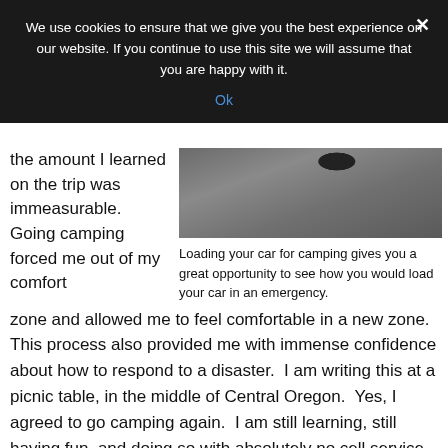We use cookies to ensure that we give you the best experience on our website. If you continue to use this site we will assume that you are happy with it.
Ok
the amount I learned on the trip was immeasurable. Going camping forced me out of my comfort
[Figure (photo): Photo of a car tire on a gravel road or campsite surface, viewed from above/side.]
Loading your car for camping gives you a great opportunity to see how you would load your car in an emergency.
zone and allowed me to feel comfortable in a new zone.  This process also provided me with immense confidence about how to respond to a disaster.  I am writing this at a picnic table, in the middle of Central Oregon.  Yes, I agreed to go camping again.  I am still learning, still having fun, and doing so with absolutely no cell service.  As I reflect on my first camping trip